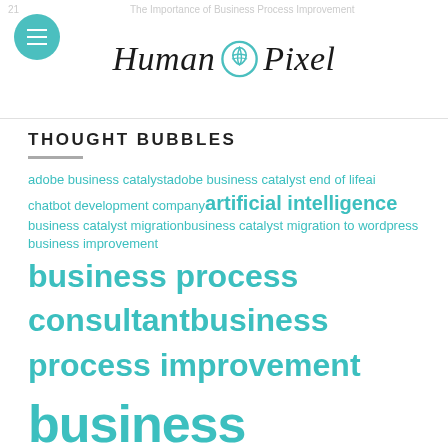Human Pixel
THOUGHT BUBBLES
adobe business catalyst  adobe business catalyst end of life  ai chatbot development company  artificial intelligence  business catalyst migration  business catalyst migration to wordpress  business improvement  business process consultant  business process improvement  business process optimisation  chatbot agency  chatbot developer melbourne  chatbot developer sydney  chatbot development  crm